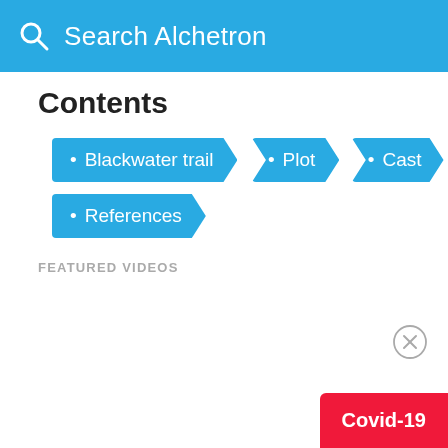Search Alchetron
Contents
Blackwater trail
Plot
Cast
References
FEATURED VIDEOS